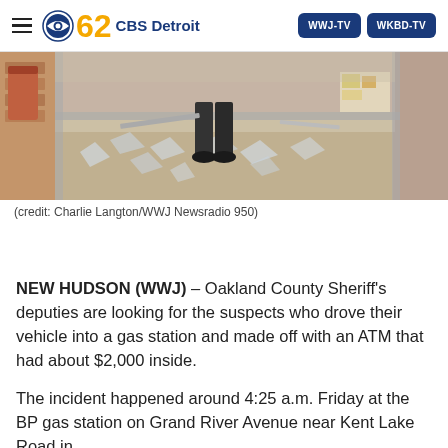CBS 62 CBS Detroit | WWJ-TV | WKBD-TV
[Figure (photo): Shattered glass storefront of a gas station, debris on floor, person's legs visible walking through broken glass entrance]
(credit: Charlie Langton/WWJ Newsradio 950)
NEW HUDSON (WWJ) – Oakland County Sheriff's deputies are looking for the suspects who drove their vehicle into a gas station and made off with an ATM that had about $2,000 inside.
The incident happened around 4:25 a.m. Friday at the BP gas station on Grand River Avenue near Kent Lake Road in